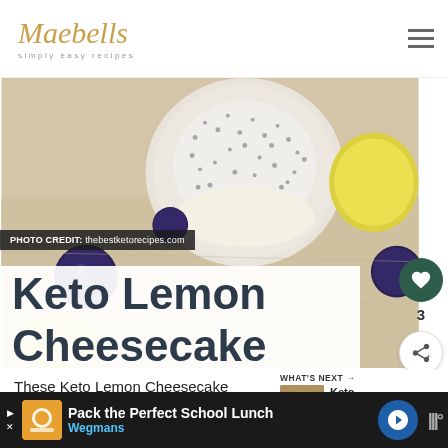Maebells — simply easy recipes
[Figure (photo): Close-up photo of a chia seed pudding parfait in a speckled ceramic cup, with blueberries, lemon slices and zest on a wooden surface. Text overlay: PHOTO CREDIT: thebestketorecipes.com]
Keto Lemon Cheesecake Parfaits
These Keto Lemon Cheesecake Parfaits feature a creamy lemon cheesecake layer topped with vanilla chia seed pudding! An
WHAT'S NEXT → Keto Chocolate...
Pack the Perfect School Lunch — Wegmans (advertisement)